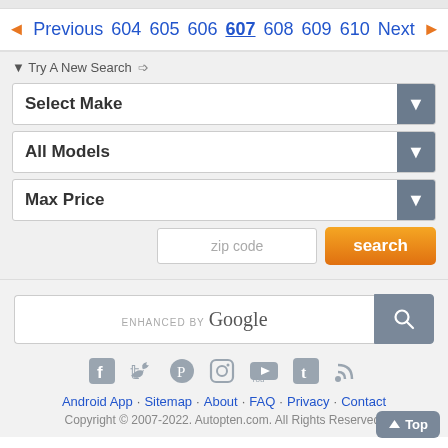◄ Previous 604 605 606 607 608 609 610 Next ►
▼ Try A New Search ➩
Select Make
All Models
Max Price
zip code  search
[Figure (screenshot): Google enhanced search bar with search button]
[Figure (infographic): Social media icons: Facebook, Twitter, Pinterest, Instagram, YouTube, Tumblr, RSS]
Android App · Sitemap · About · FAQ · Privacy · Contact
Copyright © 2007-2022. Autopten.com. All Rights Reserved.